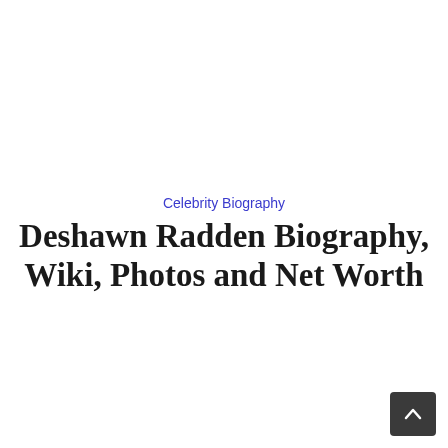Celebrity Biography
Deshawn Radden Biography, Wiki, Photos and Net Worth